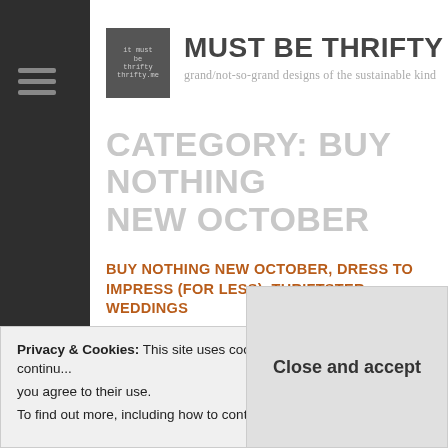MUST BE THRIFTY
grand/not-so-grand designs of the sustainable kind
CATEGORY: BUY NOTHING NEW OCTOBER
BUY NOTHING NEW OCTOBER, DRESS TO IMPRESS (FOR LESS), THRIFTSTER WEDDINGS
Married in an op-shop
Privacy & Cookies: This site uses cookies. By continuing to use this website, you agree to their use. To find out more, including how to control cookies, see here:
Close and accept